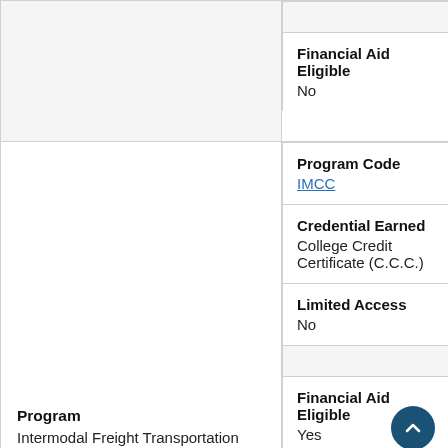| Program | Field | Value |
| --- | --- | --- |
|  | Financial Aid Eligible | No |
| Intermodal Freight Transportation | Program Code | IMCC |
|  | Credential Earned | College Credit Certificate (C.C.C.) |
|  | Limited Access | No |
|  | Financial Aid Eligible | Yes |